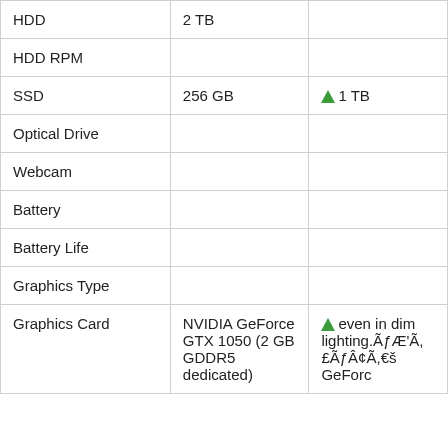|  |  |  |
| --- | --- | --- |
| HDD | 2 TB |  |
| HDD RPM |  |  |
| SSD | 256 GB | ↑1 TB |
| Optical Drive |  |  |
| Webcam |  |  |
| Battery |  |  |
| Battery Life |  |  |
| Graphics Type |  |  |
| Graphics Card | NVIDIA GeForce GTX 1050 (2 GB GDDR5 dedicated) | ↑even in dim lighting.ÃƒÆ'Ã,£ÃƒÂ¢Ã,€ GeForc |